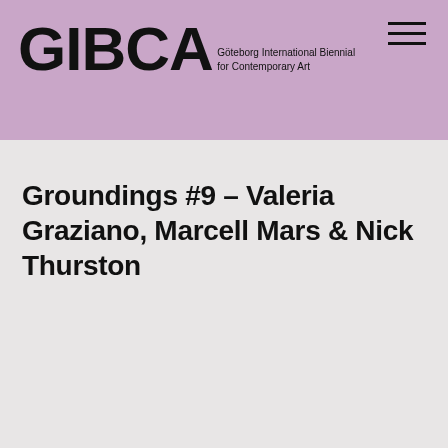GIBCA
Göteborg International Biennial
for Contemporary Art
Groundings #9 – Valeria Graziano, Marcell Mars & Nick Thurston